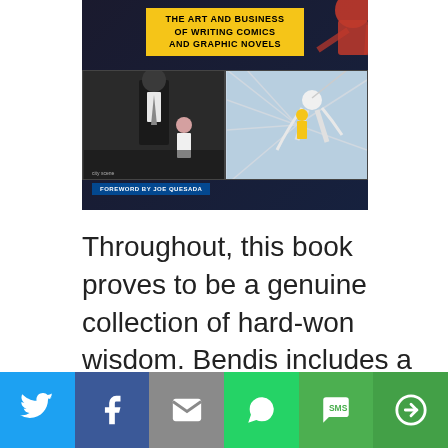[Figure (illustration): Book cover for a book about the art and business of writing comics and graphic novels, showing comic-style panels with superhero figures. Title banner reads 'THE ART AND BUSINESS OF WRITING COMICS AND GRAPHIC NOVELS'. Foreword by Joe Quesada.]
Throughout, this book proves to be a genuine collection of hard-won wisdom. Bendis includes a number of interviews with leading figures in
[Figure (screenshot): Social media sharing bar with buttons for Twitter (bird icon), Facebook (f icon), Email (envelope icon), WhatsApp (phone icon), SMS (SMS badge), and More (circular arrow icon)]